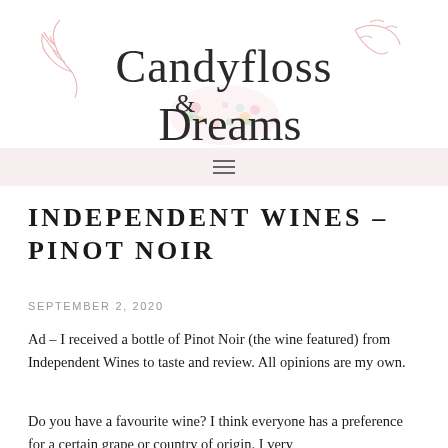[Figure (logo): Candyfloss & Dreams blog logo with script font text, decorative floral elements, and pink branch decorations on sides]
≡
INDEPENDENT WINES – PINOT NOIR
SEPTEMBER 2, 2020
Ad – I received a bottle of Pinot Noir (the wine featured) from Independent Wines to taste and review. All opinions are my own.
Do you have a favourite wine? I think everyone has a preference for a certain grape or country of origin. I very